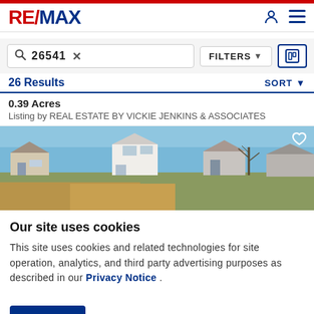RE/MAX
26541 X   FILTERS   [map icon]
26 Results   SORT
0.39 Acres
Listing by REAL ESTATE BY VICKIE JENKINS & ASSOCIATES
[Figure (photo): Panoramic photo of a residential subdivision under a clear blue sky, with multiple two-story houses visible and dry grassy foreground]
Our site uses cookies
This site uses cookies and related technologies for site operation, analytics, and third party advertising purposes as described in our Privacy Notice .
ACCEPT